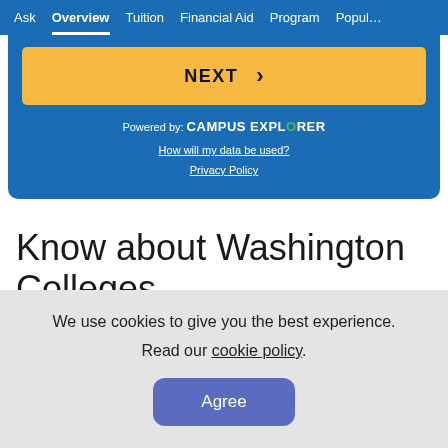Ask | Overview | Tuition | Financial Aid | Program | Popula
[Figure (screenshot): NEXT button with arrow, yellow background inside a blue card widget, with 'Powered by: CAMPUS EXPLORER' and links 'How will my data be used?' and 'Privacy Policy']
Know about Washington Colleges
We use cookies to give you the best experience. Read our cookie policy.
Agree